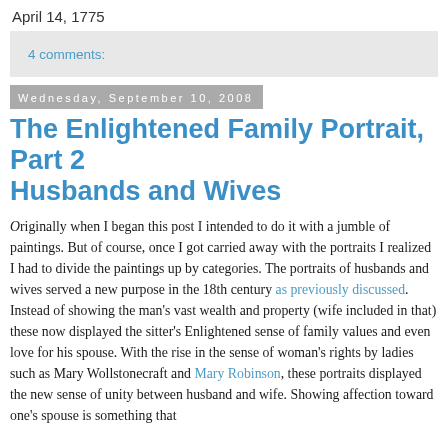April 14, 1775
4 comments:
Wednesday, September 10, 2008
The Enlightened Family Portrait, Part 2 Husbands and Wives
Originally when I began this post I intended to do it with a jumble of paintings. But of course, once I got carried away with the portraits I realized I had to divide the paintings up by categories. The portraits of husbands and wives served a new purpose in the 18th century as previously discussed. Instead of showing the man's vast wealth and property (wife included in that) these now displayed the sitter's Enlightened sense of family values and even love for his spouse. With the rise in the sense of woman's rights by ladies such as Mary Wollstonecraft and Mary Robinson, these portraits displayed the new sense of unity between husband and wife. Showing affection toward one's spouse is something that